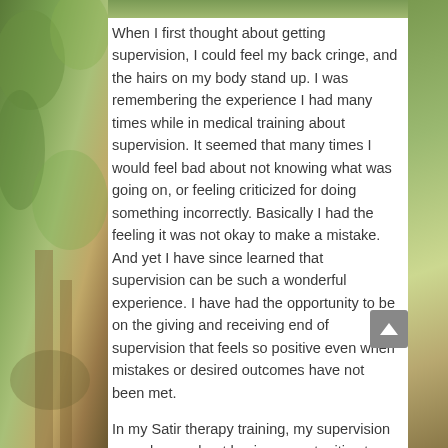[Figure (photo): Partial view of a nature/garden path scene with green trees and foliage, appearing as background on the left side and a strip at the top of the page]
When I first thought about getting supervision, I could feel my back cringe, and the hairs on my body stand up. I was remembering the experience I had many times while in medical training about supervision. It seemed that many times I would feel bad about not knowing what was going on, or feeling criticized for doing something incorrectly. Basically I had the feeling it was not okay to make a mistake. And yet I have since learned that supervision can be such a wonderful experience. I have had the opportunity to be on the giving and receiving end of supervision that feels so positive even when mistakes or desired outcomes have not been met.
In my Satir therapy training, my supervision was always about having opportunities to build more confidence, gain more competence and become more congruent ( or present with others). I have these same goals when I work with other therapists, looking